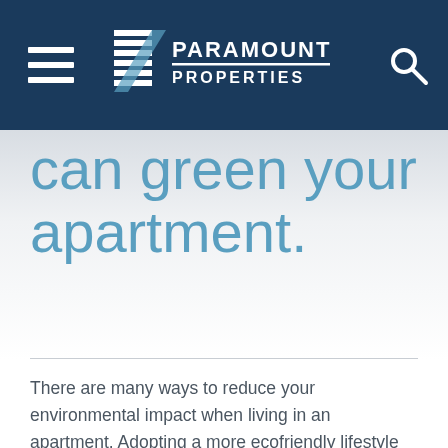Paramount Properties
can green your apartment.
There are many ways to reduce your environmental impact when living in an apartment. Adopting a more ecofriendly lifestyle minimizes your carbon footprint, while saving you time and money. Paramount Properties is committed to ensuring our apartments are as eco-friendly as possible. Whether you are a student, professional or a mature apartment seeker, here are some simple ways that you can green your apartment.